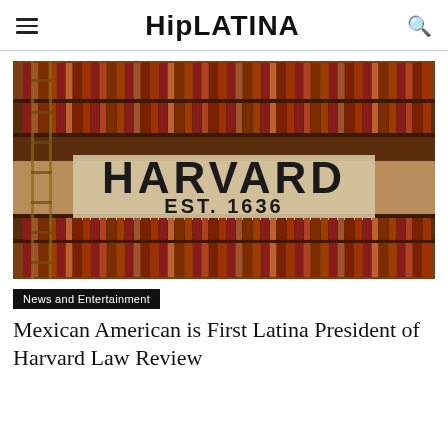HipLATINA
[Figure (photo): Library bookshelf filled with red/brown books, with a wooden ladder visible on the left. In the center, large black text reads 'HARVARD' and below it 'EST. 1636' on what appears to be a shelf or banner.]
News and Entertainment
Mexican American is First Latina President of Harvard Law Review